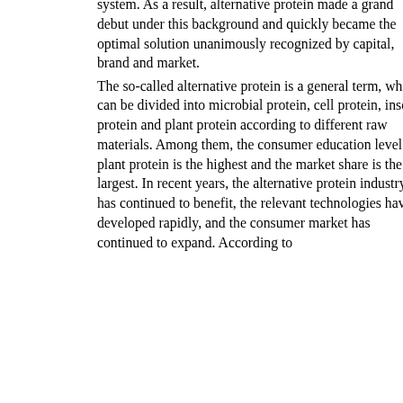system. As a result, alternative protein made a grand debut under this background and quickly became the optimal solution unanimously recognized by capital, brand and market. The so-called alternative protein is a general term, which can be divided into microbial protein, cell protein, insect protein and plant protein according to different raw materials. Among them, the consumer education level of plant protein is the highest and the market share is the largest. In recent years, the alternative protein industry has continued to benefit, the relevant technologies have developed rapidly, and the consumer market has continued to expand. According to